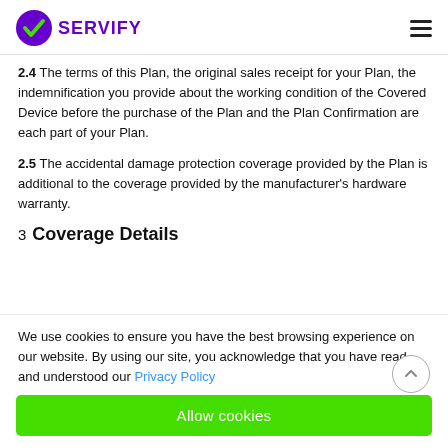SERVIFY
2.4  The terms of this Plan, the original sales receipt for your Plan, the indemnification you provide about the working condition of the Covered Device before the purchase of the Plan and the Plan Confirmation are each part of your Plan.
2.5  The accidental damage protection coverage provided by the Plan is additional to the coverage provided by the manufacturer's hardware warranty.
3 Coverage Details
We use cookies to ensure you have the best browsing experience on our website. By using our site, you acknowledge that you have read and understood our Privacy Policy
Allow cookies